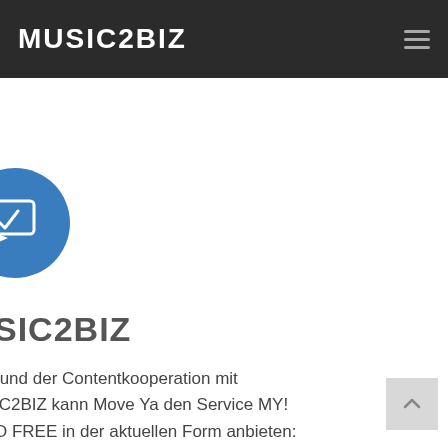MUSIC2BIZ
[Figure (illustration): Blue circle with a white chat/message bubble icon containing a checkmark]
SIC2BIZ
rund der Contentkooperation mit IC2BIZ kann Move Ya den Service MY! O FREE in der aktuellen Form anbieten: dvoll mit optimaler Musik für jeden lichen Anlass und Zeitpunkt uem in der Nutzung unterschiedlichster